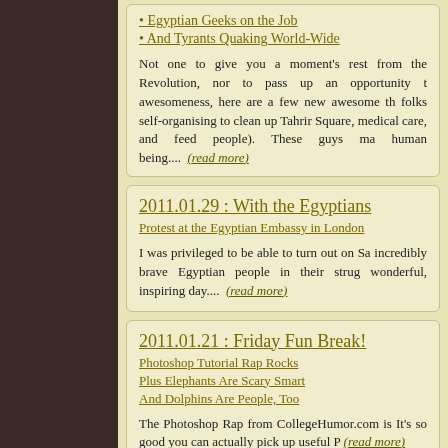• Egyptian Geeks on the Job
• And Tyrants Quaking World-Wide
Not one to give you a moment's rest from the Revolution, nor to pass up an opportunity to awesomeness, here are a few new awesome things: folks self-organising to clean up Tahrir Square, medical care, and feed people). These guys ma... (read more)
2011.01.29 : With the Egyptians
Protest at the Egyptian Embassy in London
I was privileged to be able to turn out on Sa... incredibly brave Egyptian people in their strug... wonderful, inspiring day.... (read more)
2011.01.21 : Friday Fun Break!
Photoshop Tutorial Rap Rocks
Plus Elephants Are Scary Smart
And Dolphins Are People, Too
The Photoshop Rap from CollegeHumor.com is... It's so good you can actually pick up useful P... (read more)